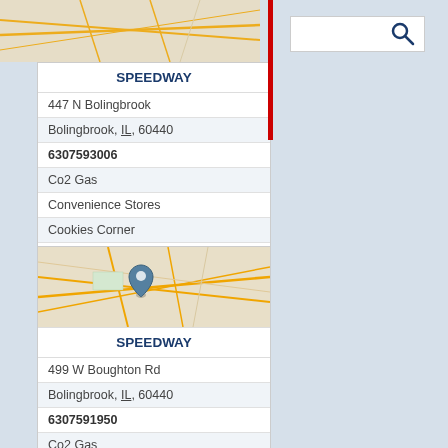[Figure (map): Street map thumbnail showing Bolingbrook IL area with orange road lines]
[Figure (screenshot): Search input box with magnifying glass icon]
SPEEDWAY
447 N Bolingbrook
Bolingbrook, IL, 60440
6307593006
Co2 Gas
Convenience Stores
Cookies Corner
E85 Gas Stations
Food
[Figure (map): Street map thumbnail of Bolingbrook IL area with orange roads and a blue location pin marker]
SPEEDWAY
499 W Boughton Rd
Bolingbrook, IL, 60440
6307591950
Co2 Gas
Convenience Stores
Cookies Corner
E85 Gas Stations